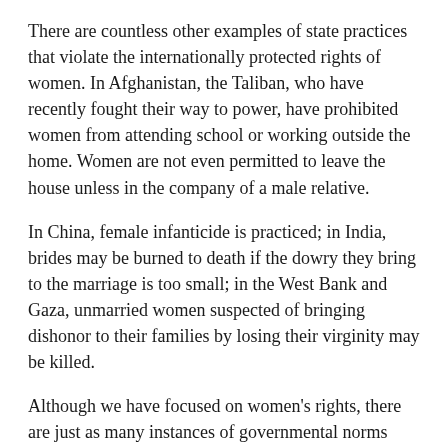There are countless other examples of state practices that violate the internationally protected rights of women. In Afghanistan, the Taliban, who have recently fought their way to power, have prohibited women from attending school or working outside the home. Women are not even permitted to leave the house unless in the company of a male relative.
In China, female infanticide is practiced; in India, brides may be burned to death if the dowry they bring to the marriage is too small; in the West Bank and Gaza, unmarried women suspected of bringing dishonor to their families by losing their virginity may be killed.
Although we have focused on women's rights, there are just as many instances of governmental norms justified by culture or religion that violate the rights of men, as well. For example, many countries have ignored the right to freedom of thought, conscience, and religion.
In some countries, all religious practices have been